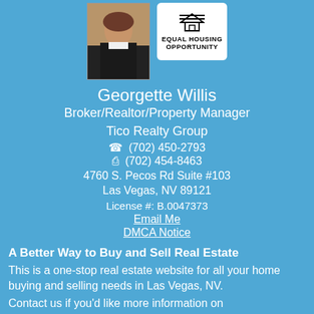[Figure (photo): Agent headshot photo of Georgette Willis in a dark jacket]
[Figure (logo): Equal Housing Opportunity logo with house icon and text]
Georgette Willis
Broker/Realtor/Property Manager
Tico Realty Group
(702) 450-2793
(702) 454-8463
4760 S. Pecos Rd Suite #103
Las Vegas, NV 89121
License #: B.0047373
Email Me
DMCA Notice
A Better Way to Buy and Sell Real Estate
This is a one-stop real estate website for all your home buying and selling needs in Las Vegas, NV.
Contact us if you'd like more information on